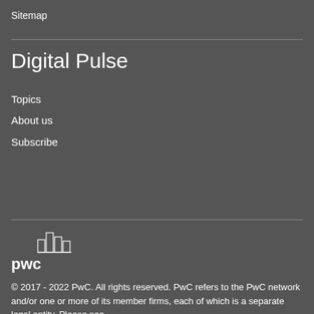Sitemap
Digital Pulse
Topics
About us
Subscribe
[Figure (logo): PwC logo with building icon above and 'pwc' text below]
© 2017 - 2022 PwC. All rights reserved. PwC refers to the PwC network and/or one or more of its member firms, each of which is a separate legal entity. Please see